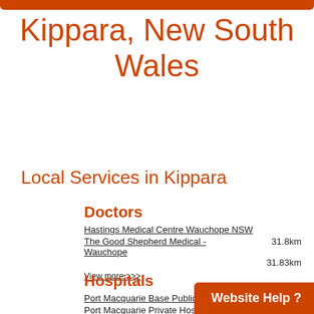Kippara, New South Wales
Local Services in Kippara
Doctors
Hastings Medical Centre Wauchope NSW
The Good Shepherd Medical - Wauchope    31.8km
31.83km
View more >>>
Hospitals
Port Macquarie Base Public Hospital
Port Macquarie Private Hospi...
View more >>>
45.45km